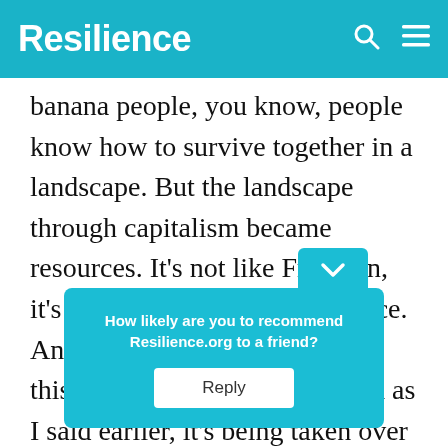Resilience
banana people, you know, people know how to survive together in a landscape. But the landscape through capitalism became resources. It's not like Freudian, it's that disconnection from place. And I think part of what makes this my place, it's not great, and as I said earlier, it's being taken over by, you know, the financialization and real estate, and vacation rentals. But there's something… mutual aid ne… akes
How likely are you to recommend Resilience.org to a friend?
Reply